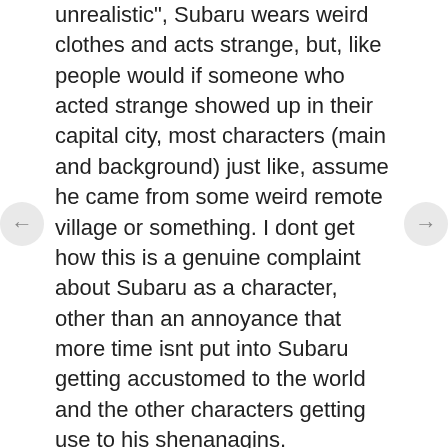unrealistic", Subaru wears weird clothes and acts strange, but, like people would if someone who acted strange showed up in their capital city, most characters (main and background) just like, assume he came from some weird remote village or something. I dont get how this is a genuine complaint about Subaru as a character, other than an annoyance that more time isnt put into Subaru getting accustomed to the world and the other characters getting use to his shenanagins.
-Subaru does grow as a charcter, but not by aknowledging his flaws and changing all of them to complety re-create himself, instead, by leaning on the poeple around him and becoming a more likeable and dependable person as he retains his personality from the beggining of the show. That’s the point of re-zero, and i think not realizing that, and looking at the show through that perspective, makes your